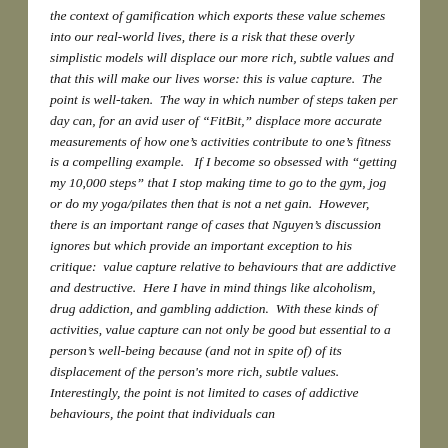the context of gamification which exports these value schemes into our real-world lives, there is a risk that these overly simplistic models will displace our more rich, subtle values and that this will make our lives worse: this is value capture.  The point is well-taken.  The way in which number of steps taken per day can, for an avid user of “FitBit,” displace more accurate measurements of how one’s activities contribute to one’s fitness is a compelling example.   If I become so obsessed with “getting my 10,000 steps” that I stop making time to go to the gym, jog or do my yoga/pilates then that is not a net gain.  However, there is an important range of cases that Nguyen’s discussion ignores but which provide an important exception to his critique:  value capture relative to behaviours that are addictive and destructive.  Here I have in mind things like alcoholism, drug addiction, and gambling addiction.  With these kinds of activities, value capture can not only be good but essential to a person’s well-being because (and not in spite of) of its displacement of the person's more rich, subtle values.  Interestingly, the point is not limited to cases of addictive behaviours, the point that individuals can...